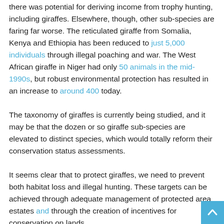there was potential for deriving income from trophy hunting, including giraffes. Elsewhere, though, other sub-species are faring far worse. The reticulated giraffe from Somalia, Kenya and Ethiopia has been reduced to just 5,000 individuals through illegal poaching and war. The West African giraffe in Niger had only 50 animals in the mid-1990s, but robust environmental protection has resulted in an increase to around 400 today.
The taxonomy of giraffes is currently being studied, and it may be that the dozen or so giraffe sub-species are elevated to distinct species, which would totally reform their conservation status assessments.
It seems clear that to protect giraffes, we need to prevent both habitat loss and illegal hunting. These targets can be achieved through adequate management of protected area estates and through the creation of incentives for conservation on lands